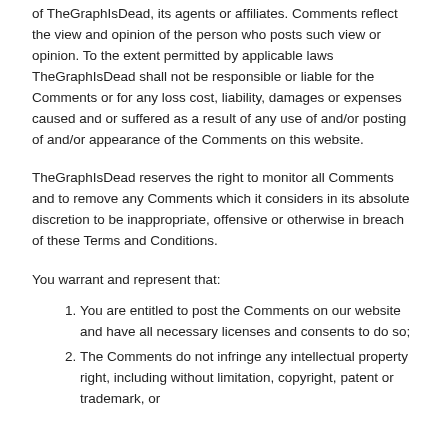of TheGraphIsDead, its agents or affiliates. Comments reflect the view and opinion of the person who posts such view or opinion. To the extent permitted by applicable laws TheGraphIsDead shall not be responsible or liable for the Comments or for any loss cost, liability, damages or expenses caused and or suffered as a result of any use of and/or posting of and/or appearance of the Comments on this website.
TheGraphIsDead reserves the right to monitor all Comments and to remove any Comments which it considers in its absolute discretion to be inappropriate, offensive or otherwise in breach of these Terms and Conditions.
You warrant and represent that:
You are entitled to post the Comments on our website and have all necessary licenses and consents to do so;
The Comments do not infringe any intellectual property right, including without limitation, copyright, patent or trademark, or